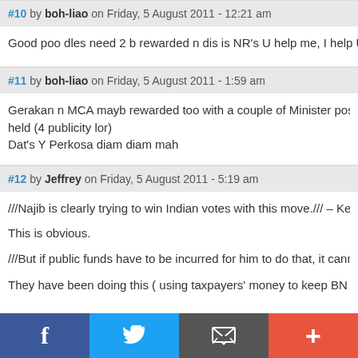#10 by boh-liao on Friday, 5 August 2011 - 12:21 am
Good poo dles need 2 b rewarded n dis is NR's U help me, I help U prac
#11 by boh-liao on Friday, 5 August 2011 - 1:59 am
Gerakan n MCA mayb rewarded too with a couple of Minister posts soon held (4 publicity lor)
Dat's Y Perkosa diam diam mah
#12 by Jeffrey on Friday, 5 August 2011 - 5:19 am
///Najib is clearly trying to win Indian votes with this move./// – Kee Thua

This is obvious.

///But if public funds have to be incurred for him to do that, it cannot be

They have been doing this ( using taxpayers' money to keep BN in powe claims and pension are peanuts compared to other sums from public co